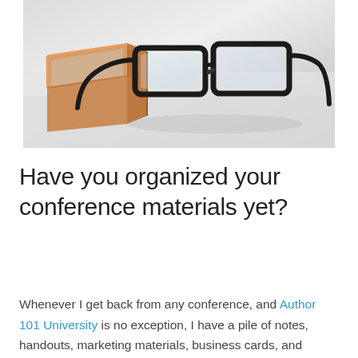[Figure (photo): A photo of black rectangular eyeglasses resting on a white surface next to a copper/rose-gold geometric glass terrarium or box, with soft natural lighting.]
Have you organized your conference materials yet?
Whenever I get back from any conference, and Author 101 University is no exception, I have a pile of notes, handouts, marketing materials, business cards, and emails to deal with. I usually pull the stuff